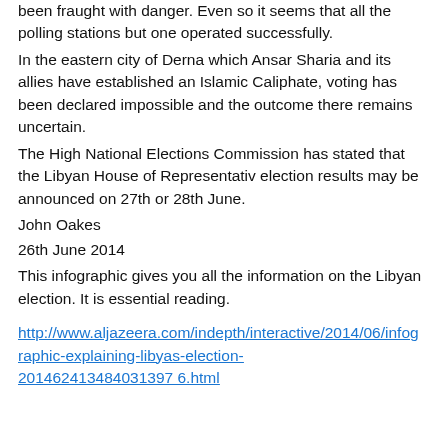been fraught with danger. Even so it seems that all the polling stations but one operated successfully.
In the eastern city of Derna which Ansar Sharia and its allies have established an Islamic Caliphate, voting has been declared impossible and the outcome there remains uncertain.
The High National Elections Commission has stated that the Libyan House of Representativ election results may be announced on 27th or 28th June.
John Oakes
26th June 2014
This infographic gives you all the information on the Libyan election. It is essential reading.
http://www.aljazeera.com/indepth/interactive/2014/06/infographic-explaining-libyas-election-201462413484031397 6.html